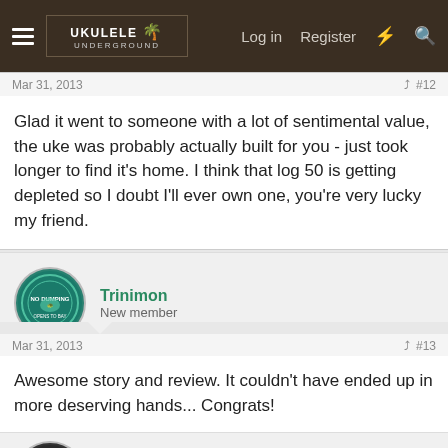[Figure (screenshot): Ukulele Underground forum website navigation bar with hamburger menu, logo, Log in, Register, lightning bolt and search icons]
Mar 31, 2013  #12
Glad it went to someone with a lot of sentimental value, the uke was probably actually built for you - just took longer to find it's home. I think that log 50 is getting depleted so I doubt I'll ever own one, you're very lucky my friend.
[Figure (photo): Trinimon avatar - circular teal badge with turtle graphic and text 'NO DUMPING OPENS TO BAY']
Trinimon
New member
Mar 31, 2013  #13
Awesome story and review. It couldn't have ended up in more deserving hands... Congrats!
[Figure (photo): AirCanuck avatar - circular dark photo of a cat]
AirCanuck
New member
Mar 31, 2013  #14